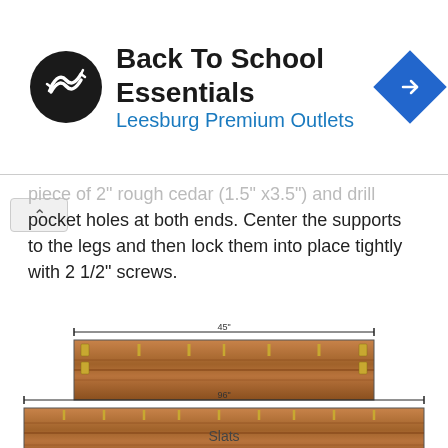[Figure (other): Advertisement banner: Back To School Essentials - Leesburg Premium Outlets with logo and navigation icon]
piece of 2" rough cedar (1.5" x3.5") and drill pocket holes at both ends. Center the supports to the legs and then lock them into place tightly with 2 1/2" screws.
[Figure (engineering-diagram): Top diagram of a 45-inch wooden board (slat) shown from front view with screws/pocket holes indicated. Labeled with dimension arrow '45'.]
[Figure (engineering-diagram): Bottom diagram of a 96-inch wooden board (slat) shown from front view with screws/pocket holes indicated. Labeled with dimension arrow '96'.]
Slats